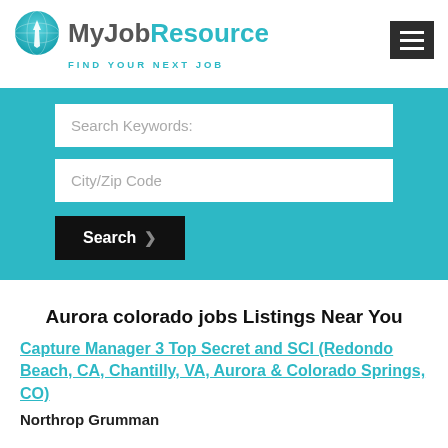[Figure (logo): MyJobResource logo with teal globe/tie icon and text 'MyJobResource' with tagline 'FIND YOUR NEXT JOB']
[Figure (other): Dark hamburger menu button with three white horizontal lines]
Search Keywords:
City/Zip Code
Search
Aurora colorado jobs Listings Near You
Capture Manager 3 Top Secret and SCI (Redondo Beach, CA, Chantilly, VA, Aurora & Colorado Springs, CO)
Northrop Grumman